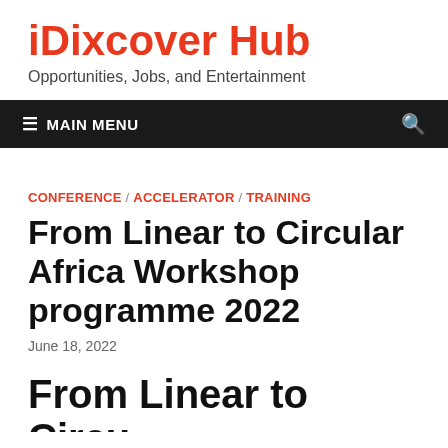iDixcover Hub
Opportunities, Jobs, and Entertainment
≡ MAIN MENU
CONFERENCE / ACCELERATOR / TRAINING
From Linear to Circular Africa Workshop programme 2022
June 18, 2022
From Linear to Circu...